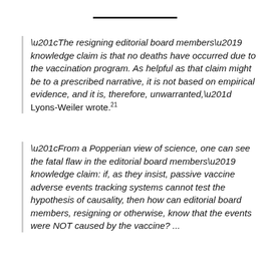“The resigning editorial board members’ knowledge claim is that no deaths have occurred due to the vaccination program. As helpful as that claim might be to a prescribed narrative, it is not based on empirical evidence, and it is, therefore, unwarranted,” Lyons-Weiler wrote.21
“From a Popperian view of science, one can see the fatal flaw in the editorial board members’ knowledge claim: if, as they insist, passive vaccine adverse events tracking systems cannot test the hypothesis of causality, then how can editorial board members, resigning or otherwise, know that the events were NOT caused by the vaccine? ...